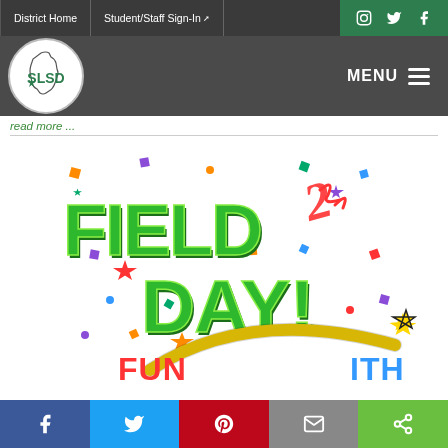District Home | Student/Staff Sign-In | Instagram | Twitter | Facebook
[Figure (logo): SLSD school district logo: circular white badge with Ohio state outline and green SLSD text with star]
MENU
read more ...
[Figure (illustration): Field Day colorful graphic: bold green 3D text reading FIELD DAY! with colorful stars, confetti, and swoosh. Text at bottom reads FUN and ITH (partially visible).]
Facebook | Twitter | Pinterest | Email | Share